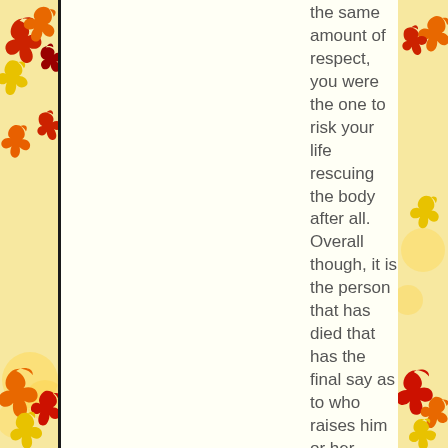the same amount of respect, you were the one to risk your life rescuing the body after all. Overall though, it is the person that has died that has the final say as to who raises him or her.
Do clerics have the right to 'scriptfog' to people in order to get there first and 'claim'
[Figure (illustration): Autumn/fall themed decorative border with colorful maple leaves in red, orange, yellow on both left and right sides of the page]